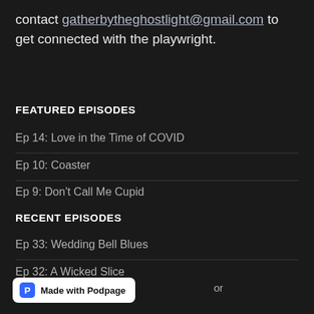contact gatherbytheghostlight@gmail.com to get connected with the playwright.
FEATURED EPISODES
Ep 14: Love in the Time of COVID
Ep 10: Coaster
Ep 9: Don't Call Me Cupid
RECENT EPISODES
Ep 33: Wedding Bell Blues
Ep 32: A Wicked Slice
Made with Podpage